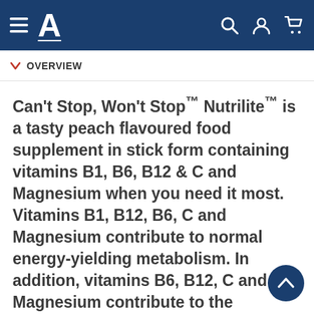A (Amway logo navigation bar with hamburger menu, search, account, and cart icons)
OVERVIEW
Can't Stop, Won't Stop™ Nutrilite™ is a tasty peach flavoured food supplement in stick form containing vitamins B1, B6, B12 & C and Magnesium when you need it most. Vitamins B1, B12, B6, C and Magnesium contribute to normal energy-yielding metabolism. In addition, vitamins B6, B12, C and Magnesium contribute to the reduction of tiredness and fatigue. Enriched with Mate, naturally